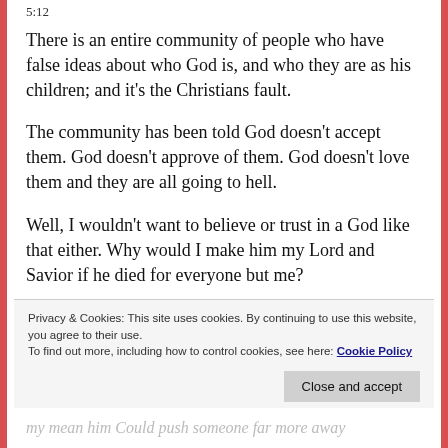5:12
There is an entire community of people who have false ideas about who God is, and who they are as his children; and it’s the Christians fault.
The community has been told God doesn’t accept them. God doesn’t approve of them. God doesn’t love them and they are all going to hell.
Well, I wouldn’t want to believe or trust in a God like that either. Why would I make him my Lord and Savior if he died for everyone but me?
Privacy & Cookies: This site uses cookies. By continuing to use this website, you agree to their use.
To find out more, including how to control cookies, see here: Cookie Policy
my mean him Could push someone far more away